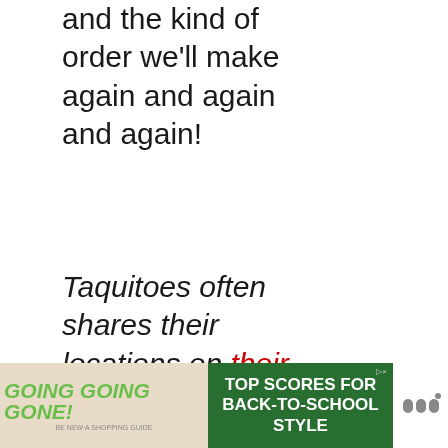and the kind of order we'll make again and again and again!
Taquitoes often shares their locations on their Facebook page.
[Figure (infographic): Social media sidebar with heart/like button showing 11.6K count and share button]
[Figure (infographic): What's Next panel showing a shopping and eating article thumbnail]
[Figure (infographic): Advertisement banner: GOING GOING GONE! TOP SCORES FOR BACK-TO-SCHOOL STYLE]